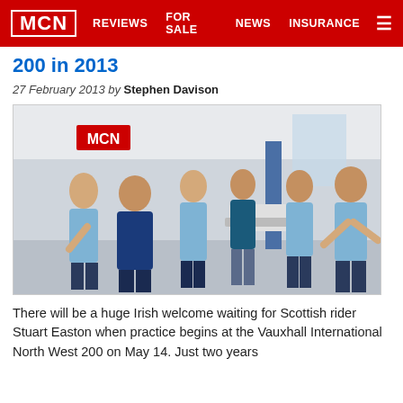MCN  REVIEWS  FOR SALE  NEWS  INSURANCE
Stuart Easton returns to the North West 200 in 2013
27 February 2013 by Stephen Davison
[Figure (photo): Group of six people in blue scrubs/uniforms standing and talking in a hospital ward. An MCN logo banner is visible in the background.]
There will be a huge Irish welcome waiting for Scottish rider Stuart Easton when practice begins at the Vauxhall International North West 200 on May 14. Just two years